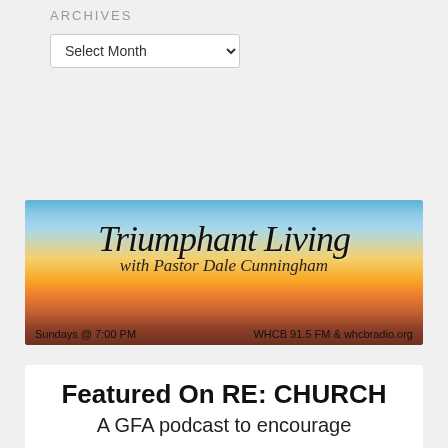ARCHIVES
Select Month
[Figure (illustration): Triumphant Living with Pastor Dale Cunningham radio show banner. Sunset/desert sky background. Text: 'Triumphant Living with Pastor Dale Cunningham', 'Sundays @ 7:00 PM', 'WHCB 91.5 FM & whcbradio.org']
Featured On RE: CHURCH
A GFA podcast to encourage